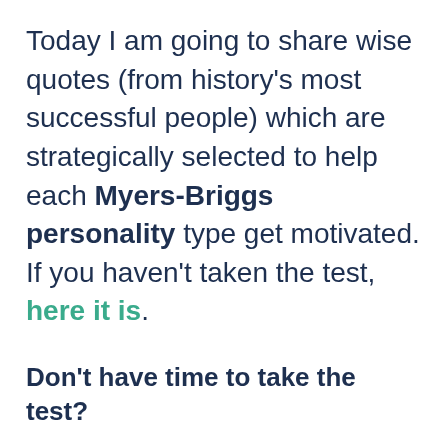Today I am going to share wise quotes (from history's most successful people) which are strategically selected to help each Myers-Briggs personality type get motivated. If you haven't taken the test, here it is.
Don't have time to take the test?
Many people are able to pick out which type they are without taking the test. Try picking from the following quotes and personality descriptions and decide which you find most